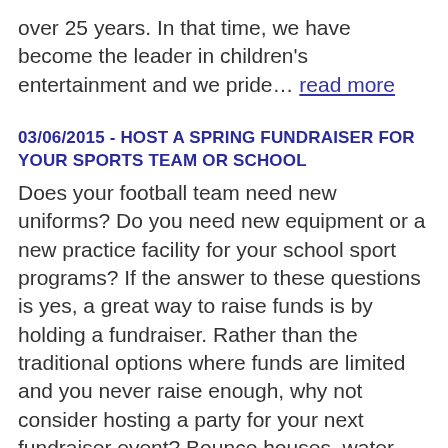over 25 years. In that time, we have become the leader in children's entertainment and we pride… read more
03/06/2015 - HOST A SPRING FUNDRAISER FOR YOUR SPORTS TEAM OR SCHOOL
Does your football team need new uniforms? Do you need new equipment or a new practice facility for your school sport programs? If the answer to these questions is yes, a great way to raise funds is by holding a fundraiser. Rather than the traditional options where funds are limited and you never raise enough, why not consider hosting a party for your next fundraiser event? Bounce houses, water slides, ...